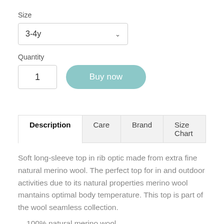Size
3-4y
Quantity
1
Buy now
Description | Care | Brand | Size Chart
Soft long-sleeve top in rib optic made from extra fine natural merino wool. The perfect top for in and outdoor activities due to its natural properties merino wool mantains optimal body temperature. This top is part of the wool seamless collection.
100% natural merino wool